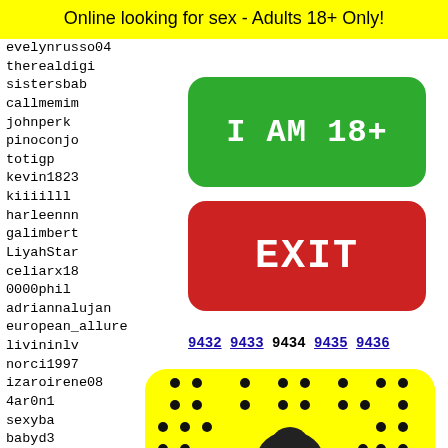Online looking for sex - Adults 18+ Only!
evelynrusso04
therealdigi
sistersbab
callmemim
johnperk
pinoconjo
totigp
kevin1823
kiiiilll
harleennn
galimbert
LiyahStar
celiarx18
0000phil
adriannalujan
european_allure
livininlv
norci1997
izaroirene08
4ar0n1
sexyba
babyd3
pussy_
14paul
barrul
[Figure (other): Green button with text I AM 18+]
[Figure (other): Red button with text EXIT]
9432 9433 9434 9435 9436
[Figure (illustration): Snapchat ghost logo on yellow background with avatar silhouette]